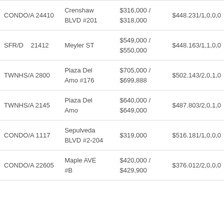| Type | Address | Price | Detail |
| --- | --- | --- | --- |
| CONDO/A 24410 | Crenshaw BLVD #201 | $316,000 / $318,000 | $448.231/1,0,0,0 |
| SFR/D 21412 | Meyler ST | $549,000 / $550,000 | $448.163/1,1,0,0 |
| TWNHS/A 2800 | Plaza Del Amo #176 | $705,000 / $699,888 | $502.143/2,0,1,0 |
| TWNHS/A 2145 | Plaza Del Amo | $640,000 / $649,000 | $487.803/2,0,1,0 |
| CONDO/A 1117 | Sepulveda BLVD #2-204 | $319,000 | $516.181/1,0,0,0 |
| CONDO/A 22605 | Maple AVE #B | $420,000 / $429,900 | $376.012/2,0,0,0 |